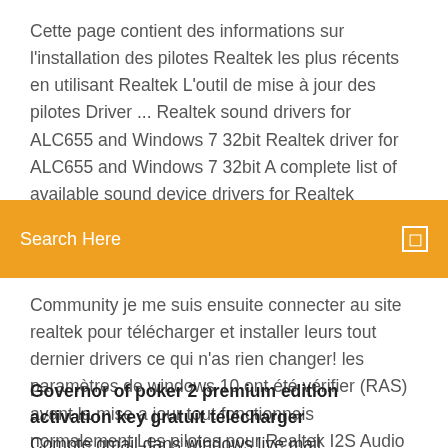Cette page contient des informations sur l'installation des pilotes Realtek les plus récents en utilisant Realtek L'outil de mise à jour des pilotes Driver ... Realtek sound drivers for ALC655 and Windows 7 32bit Realtek driver for ALC655 and Windows 7 32bit A complete list of available sound device drivers for Realtek ALC655. On this page, you will find all
Search Here
Community je me suis ensuite connecter au site realtek pour télécharger et installer leurs tout dernier drivers ce qui n'as rien changer! les paramètres de windows 10 ont été vérifier (RAS) avant la mise a jour tout fonctionnais normalement Les pilotes pour Realtek I2S Audio Codec carte son ...
Governor of poker 2 premium edition activation key gratuit télécharger
Compte gmail dans windows live mail
Jeu pour pc gratuit windows 10